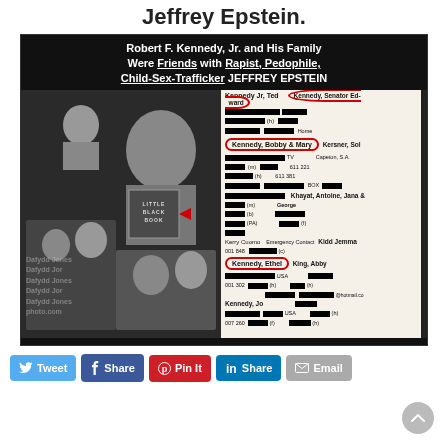Jeffrey Epstein.
[Figure (photo): Composite image with bold white text reading 'Robert F. Kennedy, Jr. and His Family Were Friends with Rapist, Pedophile, Child-Sex-Trafficker JEFFREY EPSTEIN', showing black and white photos of people on the left and a redacted address book page on the right with names including Kennedy Jr. Ted, Kennedy Senator Ed-ward, Kennedy Bobby & Mary, Kersner Sol, Khayat Antoine Jana & George, Kerry Cuomo, Kidd Jemma, Kennedy Ethel, King Abby, Kennedy Jo. Several names are circled in red.]
Tweet
Share
Pin It
Share
Email